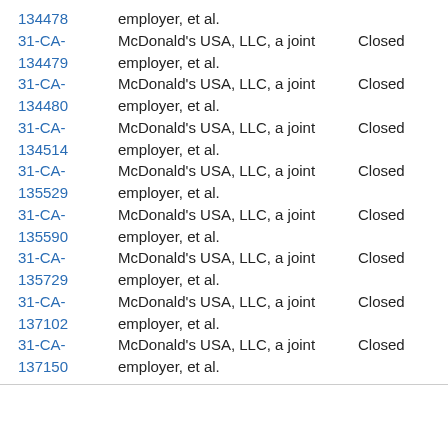134478 employer, et al.
31-CA- McDonald's USA, LLC, a joint Closed
134479 employer, et al.
31-CA- McDonald's USA, LLC, a joint Closed
134480 employer, et al.
31-CA- McDonald's USA, LLC, a joint Closed
134514 employer, et al.
31-CA- McDonald's USA, LLC, a joint Closed
135529 employer, et al.
31-CA- McDonald's USA, LLC, a joint Closed
135590 employer, et al.
31-CA- McDonald's USA, LLC, a joint Closed
135729 employer, et al.
31-CA- McDonald's USA, LLC, a joint Closed
137102 employer, et al.
31-CA- McDonald's USA, LLC, a joint Closed
137150 employer, et al.